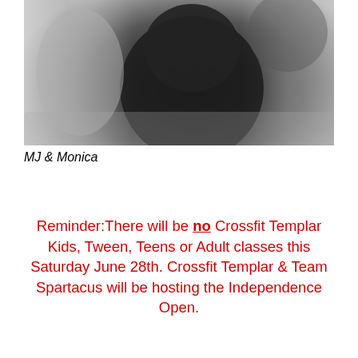[Figure (photo): Black and white close-up photo of two people doing CrossFit/athletic training, showing torso and arms, one in dark clothing]
MJ & Monica
Reminder:There will be no Crossfit Templar Kids, Tween, Teens or Adult classes this Saturday June 28th. Crossfit Templar & Team Spartacus will be hosting the Independence Open.